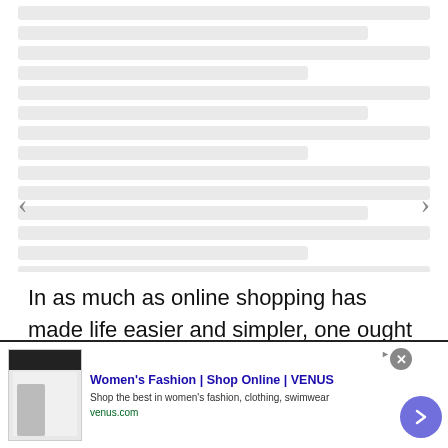[Figure (other): Blurred/faded slideshow image with left and right navigation arrows]
In as much as online shopping has made life easier and simpler, one ought to be careful when ordering things online to avoid the risk of a hacked credit card and overpurchased face. Before ordering things from an
[Figure (infographic): Advertisement banner for Women's Fashion | Shop Online | VENUS. Shows a website screenshot thumbnail on the left, ad title in blue, description 'Shop the best in women's fashion, clothing, swimwear', URL venus.com in green, close button (x), and a purple circular arrow button.]